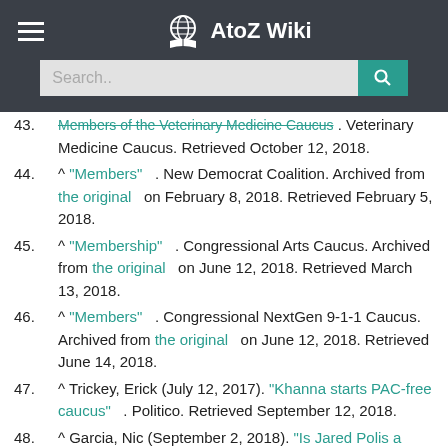AtoZ Wiki
43. ^ "Members of the Veterinary Medicine Caucus" . Veterinary Medicine Caucus. Retrieved October 12, 2018.
44. ^ "Members" . New Democrat Coalition. Archived from the original on February 8, 2018. Retrieved February 5, 2018.
45. ^ "Membership" . Congressional Arts Caucus. Archived from the original on June 12, 2018. Retrieved March 13, 2018.
46. ^ "Members" . Congressional NextGen 9-1-1 Caucus. Archived from the original on June 12, 2018. Retrieved June 14, 2018.
47. ^ Trickey, Erick (July 12, 2017). "Khanna starts PAC-free caucus" . Politico. Retrieved September 12, 2018.
48. ^ Garcia, Nic (September 2, 2018). "Is Jared Polis a "Boulder liberal?" Republicans make the case, but his record is more complicated" . The Denver Post. Retrieved June 17,